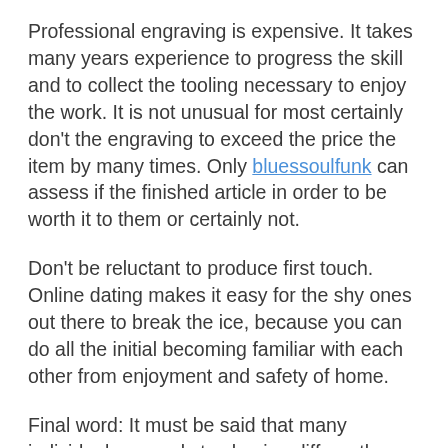Professional engraving is expensive. It takes many years experience to progress the skill and to collect the tooling necessary to enjoy the work. It is not unusual for most certainly don't the engraving to exceed the price the item by many times. Only bluessoulfunk can assess if the finished article in order to be worth it to them or certainly not.
Don't be reluctant to produce first touch. Online dating makes it easy for the shy ones out there to break the ice, because you can do all the initial becoming familiar with each other from enjoyment and safety of home.
Final word: It must be said that many individual responds to shaving differently. This is because a person's hair texture, rate of growth, and skin sensitivity are distinct from the next person. So give shaving time and experiment different accessories unless you find people really suit you providing you a close shave with minimal damage or irritation to pores and skin.